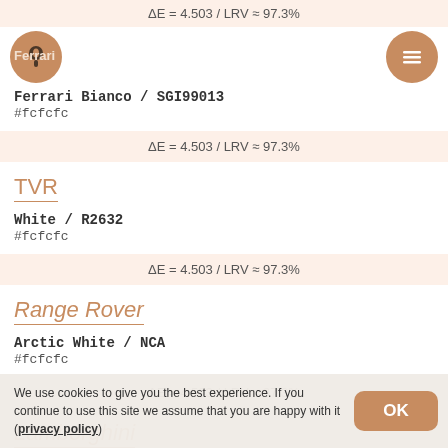ΔE = 4.503 / LRV ≈ 97.3%
Ferrari
Ferrari Bianco / SGI99013
#fcfcfc
ΔE = 4.503 / LRV ≈ 97.3%
TVR
White / R2632
#fcfcfc
ΔE = 4.503 / LRV ≈ 97.3%
Range Rover
Arctic White / NCA
#fcfcfc
ΔE = 4.503 / LRV ≈ 97.3%
Lamborghini
We use cookies to give you the best experience. If you continue to use this site we assume that you are happy with it (privacy policy)